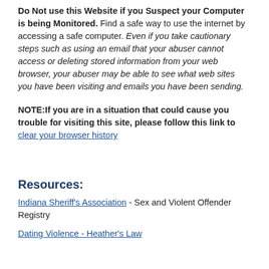Do Not use this Website if you Suspect your Computer is being Monitored. Find a safe way to use the internet by accessing a safe computer. Even if you take cautionary steps such as using an email that your abuser cannot access or deleting stored information from your web browser, your abuser may be able to see what web sites you have been visiting and emails you have been sending.
NOTE:If you are in a situation that could cause you trouble for visiting this site, please follow this link to clear your browser history
Resources:
Indiana Sheriff's Association - Sex and Violent Offender Registry
Dating Violence - Heather's Law